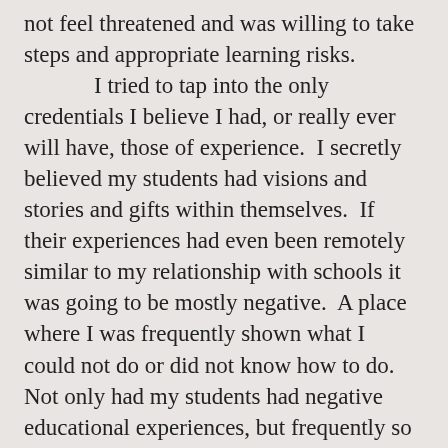not feel threatened and was willing to take steps and appropriate learning risks. I tried to tap into the only credentials I believe I had, or really ever will have, those of experience.  I secretly believed my students had visions and stories and gifts within themselves.  If their experiences had even been remotely similar to my relationship with schools it was going to be mostly negative.  A place where I was frequently shown what I could not do or did not know how to do.  Not only had my students had negative educational experiences, but frequently so had their parents.  I felt it was my job as an educator